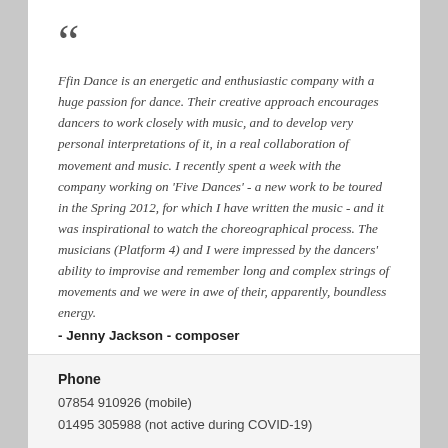Ffin Dance is an energetic and enthusiastic company with a huge passion for dance. Their creative approach encourages dancers to work closely with music, and to develop very personal interpretations of it, in a real collaboration of movement and music. I recently spent a week with the company working on 'Five Dances' - a new work to be toured in the Spring 2012, for which I have written the music - and it was inspirational to watch the choreographical process. The musicians (Platform 4) and I were impressed by the dancers' ability to improvise and remember long and complex strings of movements and we were in awe of their, apparently, boundless energy.
- Jenny Jackson - composer
ARCHIVES
Archives  Select Month
Phone
07854 910926 (mobile)
01495 305988 (not active during COVID-19)